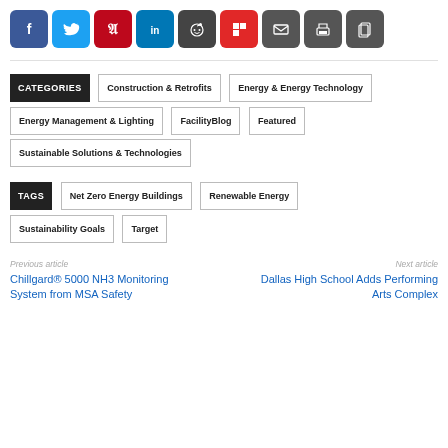[Figure (other): Row of social sharing buttons: Facebook (blue), Twitter (light blue), Pinterest (red), LinkedIn (dark blue), Reddit (dark gray), Flipboard (red), Email (dark gray), Print (dark gray), Copy (dark gray)]
CATEGORIES   Construction & Retrofits   Energy & Energy Technology   Energy Management & Lighting   FacilityBlog   Featured   Sustainable Solutions & Technologies
TAGS   Net Zero Energy Buildings   Renewable Energy   Sustainability Goals   Target
Previous article
Chillgard® 5000 NH3 Monitoring System from MSA Safety
Next article
Dallas High School Adds Performing Arts Complex